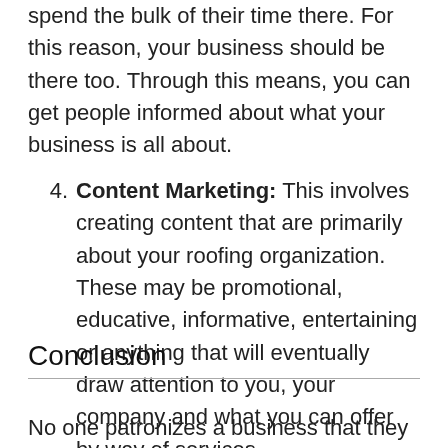today is on social media and most people spend the bulk of their time there. For this reason, your business should be there too. Through this means, you can get people informed about what your business is all about.
4. Content Marketing: This involves creating content that are primarily about your roofing organization. These may be promotional, educative, informative, entertaining or anything that will eventually draw attention to you, your company and what you can offer by way of services.
Conclusion
No one patronizes a business that they do not